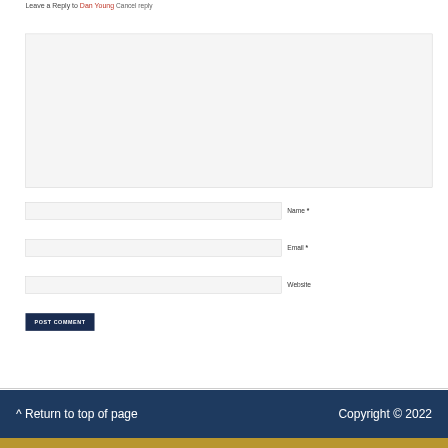Leave a Reply to Dan Young Cancel reply
[Figure (other): Comment textarea input field (large empty text area)]
Name *
Email *
Website
POST COMMENT
^ Return to top of page    Copyright © 2022